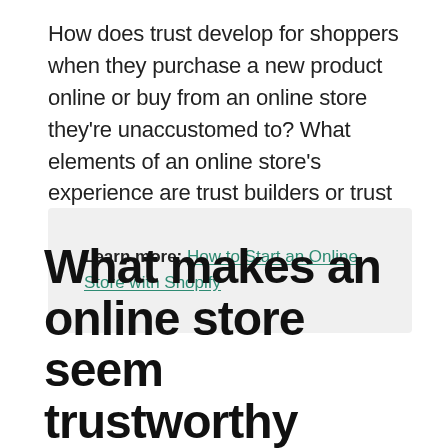How does trust develop for shoppers when they purchase a new product online or buy from an online store they're unaccustomed to? What elements of an online store's experience are trust builders or trust deal breakers?
Learn more: How to Start an Online Store with Shopify
What makes an online store seem trustworthy